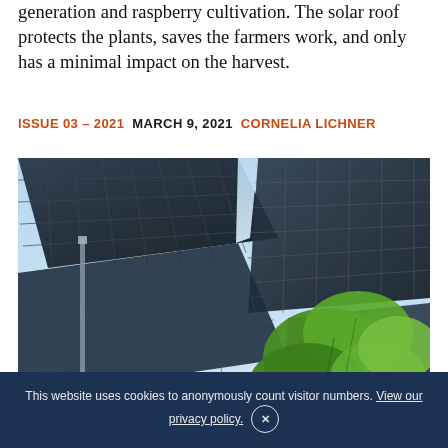generation and raspberry cultivation. The solar roof protects the plants, saves the farmers work, and only has a minimal impact on the harvest.
ISSUE 03 – 2021   MARCH 9, 2021   CORNELIA LICHNER
[Figure (photo): Upward-looking photograph beneath large solar panels forming a roof structure, with raspberry plants and bright red raspberry fruit visible in the foreground. Blue sky visible through gaps in the solar panel array.]
This website uses cookies to anonymously count visitor numbers. View our privacy policy.